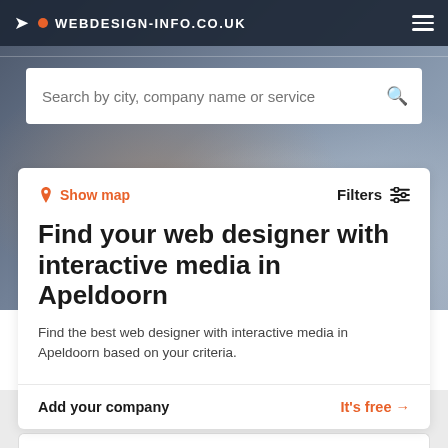WEBDESIGN-INFO.CO.UK
Search by city, company name or service
Show map
Filters
Find your web designer with interactive media in Apeldoorn
Find the best web designer with interactive media in Apeldoorn based on your criteria.
Add your company
It's free →